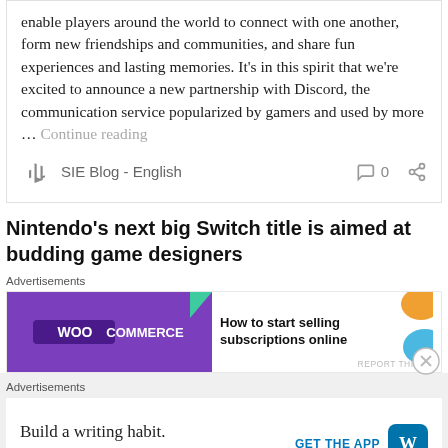enable players around the world to connect with one another, form new friendships and communities, and share fun experiences and lasting memories. It's in this spirit that we're excited to announce a new partnership with Discord, the communication service popularized by gamers and used by more … Continue reading
SIE Blog - English
Nintendo's next big Switch title is aimed at budding game designers
[Figure (other): WooCommerce advertisement banner: 'How to start selling subscriptions online']
[Figure (other): WordPress advertisement banner: 'Build a writing habit. Post on the go.' with GET THE APP button]